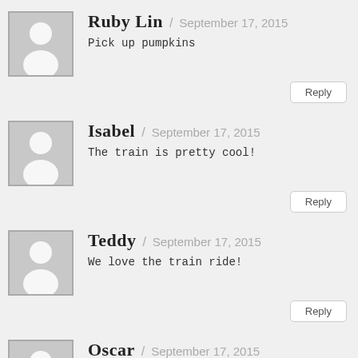Ruby Lin / September 17, 2015 — Pick up pumpkins
Isabel / September 17, 2015 — The train is pretty cool!
Teddy / September 17, 2015 — We love the train ride!
Oscar / September 17, 2015